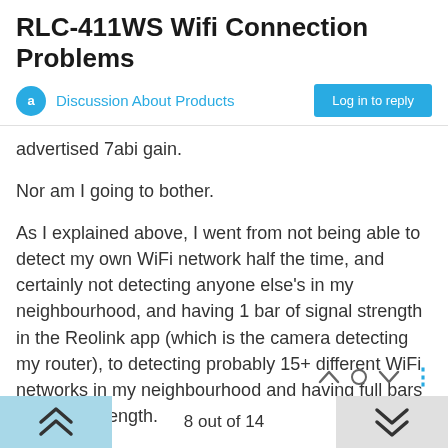RLC-411WS Wifi Connection Problems
Discussion About Products | Log in to reply
advertised 7abi gain.
Nor am I going to bother.
As I explained above, I went from not being able to detect my own WiFi network half the time, and certainly not detecting anyone else's in my neighbourhood, and having 1 bar of signal strength in the Reolink app (which is the camera detecting my router), to detecting probably 15+ different WiFi networks in my neighbourhood and having full bars of signal strength.
That's a good enough test for me. YMMV.
8 out of 14